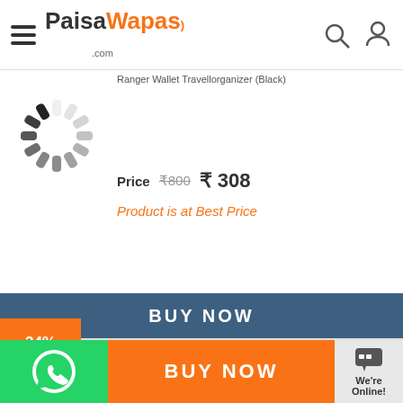PaisaWapas.com
₹800  ₹308
Product is at Best Price
BUY NOW
34% OFF
S2M Travel Money Black
Price  ₹640  ₹419
Product is at Best Price
BUY NOW
We're Online!